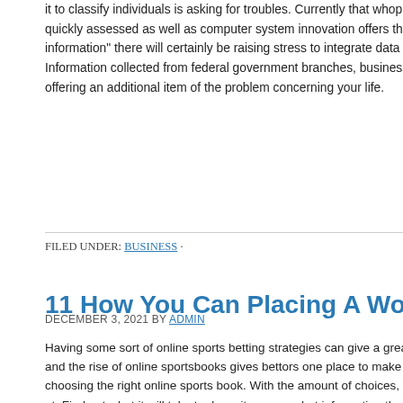it to classify individuals is asking for troubles. Currently that whopping quantity is quickly assessed as well as computer system innovation offers the devices information" there will certainly be raising stress to integrate data sources f Information collected from federal government branches, business celebra offering an additional item of the problem concerning your life.
FILED UNDER: BUSINESS ·
11 How You Can Placing A World-Wide-Web Spo
DECEMBER 3, 2021 BY ADMIN
Having some sort of online sports betting strategies can give a great suppl and the rise of online sportsbooks gives bettors one place to make their ga choosing the right online sports book. With the amount of choices, check o at. Find out what it will take to deposit money, what information they'll need sportsbook from sports betting message user discussion forums.
Learn to exercise self-restraint. If being a first timer in online sports online b you keep on losing, having desperate and continue to win back the loss by bets. This is actually the most common cause for huge online losses in bet experience somewhat beginners luck, do not throw caution to the winds am